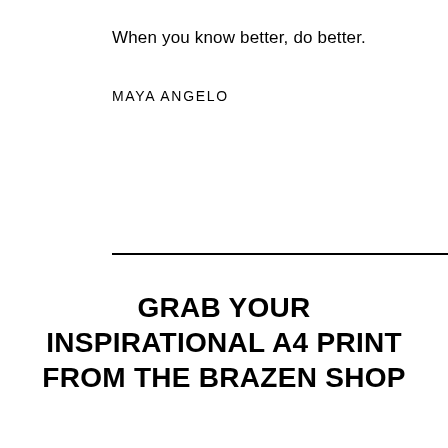When you know better, do better.
MAYA ANGELO
GRAB YOUR INSPIRATIONAL A4 PRINT FROM THE BRAZEN SHOP